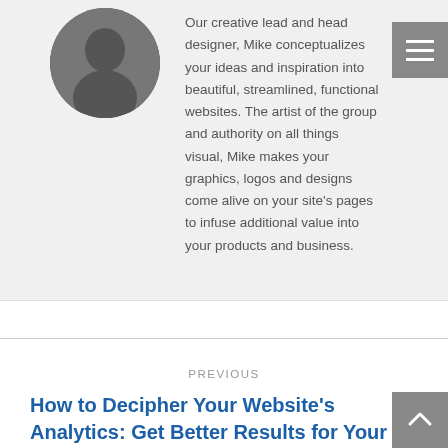[Figure (photo): Circular profile photo of a person wearing a bow tie and vest, cropped in a circle]
Our creative lead and head designer, Mike conceptualizes your ideas and inspiration into beautiful, streamlined, functional websites. The artist of the group and authority on all things visual, Mike makes your graphics, logos and designs come alive on your site's pages to infuse additional value into your products and business.
PREVIOUS
How to Decipher Your Website's Analytics: Get Better Results for Your Calgary Online Business